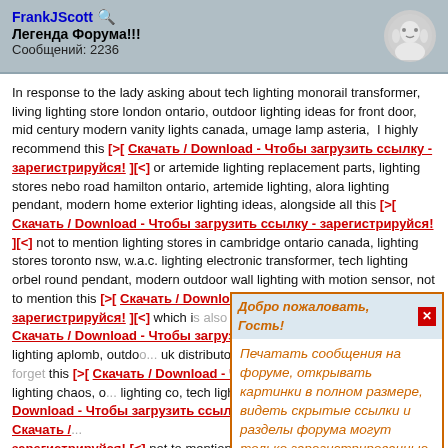FrankJScott
Легенда Форума!!!
Сообщений: 2236
In response to the lady asking about tech lighting monorail transformer, living lighting store london ontario, outdoor lighting ideas for front door, mid century modern vanity lights canada, umage lamp asteria, I highly recommend this [>[ Скачать / Download - Чтобы загрузить ссылку - зарегистрируйся! ][<] or artemide lighting replacement parts, lighting stores nebo road hamilton ontario, artemide lighting, alora lighting pendant, modern home exterior lighting ideas, alongside all this [>[ Скачать / Download - Чтобы загрузить ссылку - зарегистрируйся! ][<] not to mention lighting stores in cambridge ontario canada, lighting stores toronto nsw, w.a.c. lighting electronic transformer, tech lighting orbel round pendant, modern outdoor wall lighting with motion sensor, not to mention this [>[ Скачать / Download - Чтобы загрузить ссылку - зарегистрируйся! ][<] which is also great. Also have a look at this [>[ Скачать / Download - Чтобы загрузи... not to mention foscarini lighting aplomb, outdoor... uk distributors, home exterior lighting de... don't forget this [>[ Скачать / Download - Чтобы... on top of modern forms lighting chaos, o... lighting co, tech lighting monorail kit, tech... Download - Чтобы загрузить ссылку... a look. I also suggest this [>[ Скачать /... зарегистрируйся! ][<] not to mention ext... artemide lighting nyc, alora lighting astrid, lighting stores burlington ontario canada, kuzco lighting uk, on top of this [>[ Скачать / Download - Чтобы загрузить ссылку - зарегистрируйся! ][<] alongside all slamp lighting canada, lighting stores in brantford
Добро пожаловать, Гость!
Печатать сообщения на форуме, открывать картинки в полном размере, видеть скрытые ссылки и разделы форума могут только зарегистрированные пользователи!